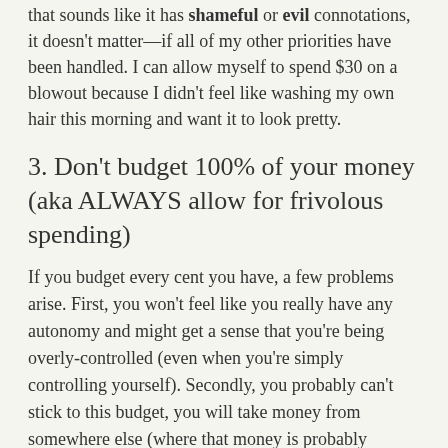that sounds like it has shameful or evil connotations, it doesn't matter—if all of my other priorities have been handled. I can allow myself to spend $30 on a blowout because I didn't feel like washing my own hair this morning and want it to look pretty.
3. Don't budget 100% of your money (aka ALWAYS allow for frivolous spending)
If you budget every cent you have, a few problems arise. First, you won't feel like you really have any autonomy and might get a sense that you're being overly-controlled (even when you're simply controlling yourself). Secondly, you probably can't stick to this budget, you will take money from somewhere else (where that money is probably important), and then you can't meet your priorities. And then you feel like you're a bad human being. This can spiral out of